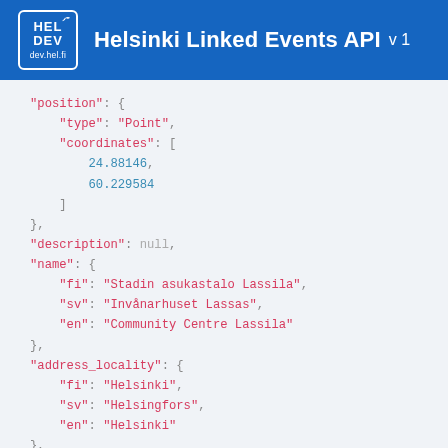Helsinki Linked Events API v 1
"position": {
    "type": "Point",
    "coordinates": [
        24.88146,
        60.229584
    ]
},
"description": null,
"name": {
    "fi": "Stadin asukastalo Lassila",
    "sv": "Invånarhuset Lassas",
    "en": "Community Centre Lassila"
},
"address_locality": {
    "fi": "Helsinki",
    "sv": "Helsingfors",
    "en": "Helsinki"
},
"info_url": null,
"street_address": {
    "fi": "Kaupintie 16",